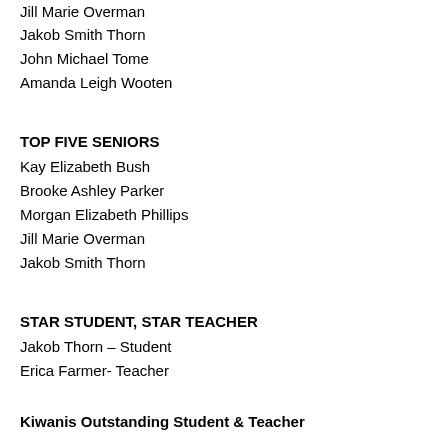Jill Marie Overman
Jakob Smith Thorn
John Michael Tome
Amanda Leigh Wooten
TOP FIVE SENIORS
Kay Elizabeth Bush
Brooke Ashley Parker
Morgan Elizabeth Phillips
Jill Marie Overman
Jakob Smith Thorn
STAR STUDENT, STAR TEACHER
Jakob Thorn – Student
Erica Farmer- Teacher
Kiwanis Outstanding Student & Teacher